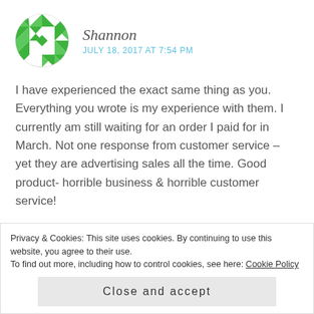[Figure (illustration): Round green and white geometric/quilt pattern avatar for user Shannon]
Shannon
JULY 18, 2017 AT 7:54 PM
I have experienced the exact same thing as you. Everything you wrote is my experience with them. I currently am still waiting for an order I paid for in March. Not one response from customer service – yet they are advertising sales all the time. Good product- horrible business & horrible customer service!
★ Like
REPLY
Privacy & Cookies: This site uses cookies. By continuing to use this website, you agree to their use.
To find out more, including how to control cookies, see here: Cookie Policy
Close and accept